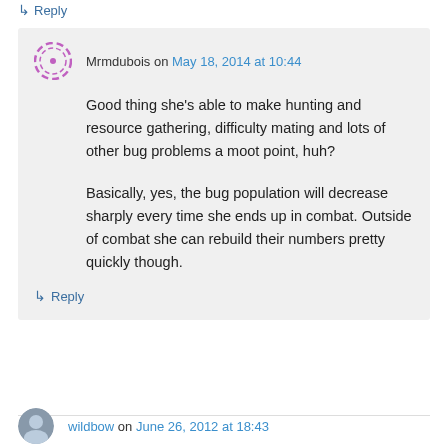↳ Reply
Mrmdubois on May 18, 2014 at 10:44
Good thing she's able to make hunting and resource gathering, difficulty mating and lots of other bug problems a moot point, huh?
Basically, yes, the bug population will decrease sharply every time she ends up in combat. Outside of combat she can rebuild their numbers pretty quickly though.
↳ Reply
wildbow on June 26, 2012 at 18:43